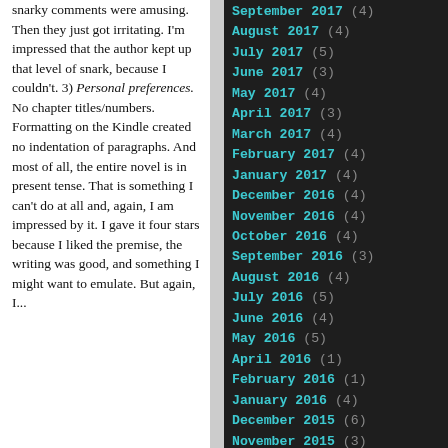snarky comments were amusing. Then they just got irritating. I'm impressed that the author kept up that level of snark, because I couldn't. 3) Personal preferences. No chapter titles/numbers. Formatting on the Kindle created no indentation of paragraphs. And most of all, the entire novel is in present tense. That is something I can't do at all and, again, I am impressed by it. I gave it four stars because I liked the premise, the writing was good, and something I might want to emulate. But again, I...
September 2017 (4)
August 2017 (4)
July 2017 (5)
June 2017 (3)
May 2017 (4)
April 2017 (3)
March 2017 (4)
February 2017 (4)
January 2017 (4)
December 2016 (4)
November 2016 (4)
October 2016 (4)
September 2016 (3)
August 2016 (4)
July 2016 (5)
June 2016 (4)
May 2016 (5)
April 2016 (1)
February 2016 (1)
January 2016 (4)
December 2015 (6)
November 2015 (3)